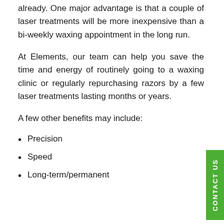already. One major advantage is that a couple of laser treatments will be more inexpensive than a bi-weekly waxing appointment in the long run.
At Elements, our team can help you save the time and energy of routinely going to a waxing clinic or regularly repurchasing razors by a few laser treatments lasting months or years.
A few other benefits may include:
Precision
Speed
Long-term/permanent